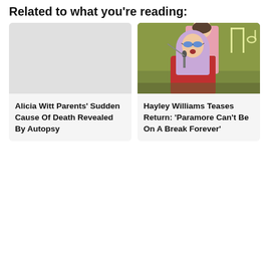Related to what you're reading:
[Figure (photo): Blank/placeholder image for Alicia Witt article card]
Alicia Witt Parents’ Sudden Cause Of Death Revealed By Autopsy
[Figure (photo): Photo of Hayley Williams performing on stage with lavender hair, blue sunglasses, red outfit, singing into a microphone. A person in a pink shirt is visible behind her. Green background with neon light shapes.]
Hayley Williams Teases Return: ‘Paramore Can’t Be On A Break Forever’